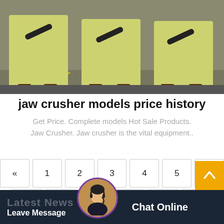[Figure (photo): Photo of yellow jaw crusher machines lined up in a factory/warehouse floor]
jaw crusher models price history
Get Price. Complete models Hot Sale Products. Jaw Crusher. Jaw crusher is the vital equipment..
« 1 2 3 4 5 6
7 8 ... 206 207 »
Latest News  Leave Message  Chat Online